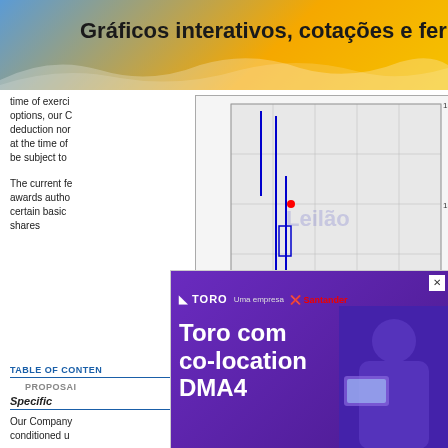Gráficos interativos, cotações e ferram
time of exerci options, our C deduction nor at the time of be subject to
[Figure (continuous-plot): Stock price intraday candlestick/OHLC chart with watermark 'Leilão'. Y-axis shows values 13.44, 13.46, 13.48. X-axis shows times 0600, 0800, 1000, 1200, 1400, 1600. Blue vertical bars and a red horizontal line at 13.44. Red dot at approximately 0900, 13.465. Copyright (c) www.advfn.com]
The current fe awards autho certain basic shares
TABLE OF CONTEN
PROPOSAI
Specific
Our Company conditioned u
[Figure (advertisement): Toro with co-location DMA4 ad with Santander logo. Purple background with person using computer. Logo: TORO Uma empresa Santander. Text: Toro com co-location DMA4]